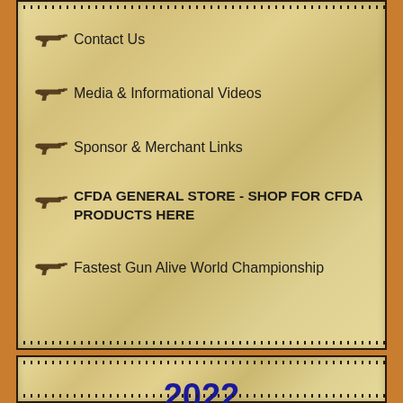Contact Us
Media & Informational Videos
Sponsor & Merchant Links
CFDA GENERAL STORE - SHOP FOR CFDA PRODUCTS HERE
Fastest Gun Alive World Championship
2022
TITLED EVENTS